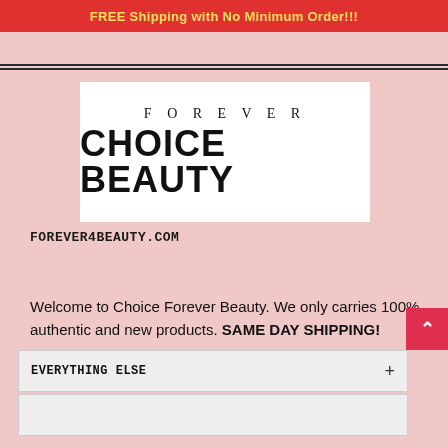FREE Shipping with No Minimum Order!!!
[Figure (logo): Forever Choice Beauty logo — white rectangle with 'FOREVER' in spaced serif letters above 'CHOICE BEAUTY' in large bold sans-serif]
FOREVER4BEAUTY.COM
Welcome to Choice Forever Beauty. We only carries 100% authentic and new products. SAME DAY SHIPPING!
EVERYTHING ELSE